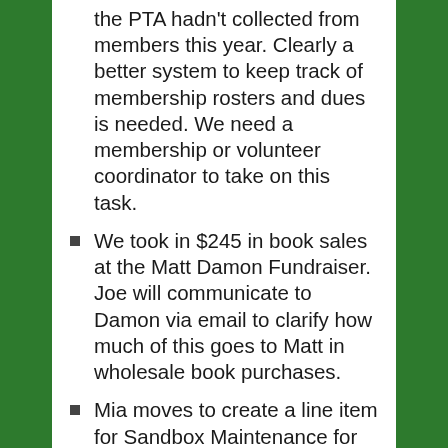the PTA hadn't collected from members this year. Clearly a better system to keep track of membership rosters and dues is needed. We need a membership or volunteer coordinator to take on this task.
We took in $245 in book sales at the Matt Damon Fundraiser. Joe will communicate to Damon via email to clarify how much of this goes to Matt in wholesale book purchases.
Mia moves to create a line item for Sandbox Maintenance for $100, for purchasing sand refills and Valerie seconds the motion and all are in favor.
Box Tops- So far over $300 has been raised. Joe has been processing the box tops. Becky offers a suggestion that the kids who come to help in the Library could do this task. Becky is looking for good projects for these helpers to do. Michelle suggests we hang